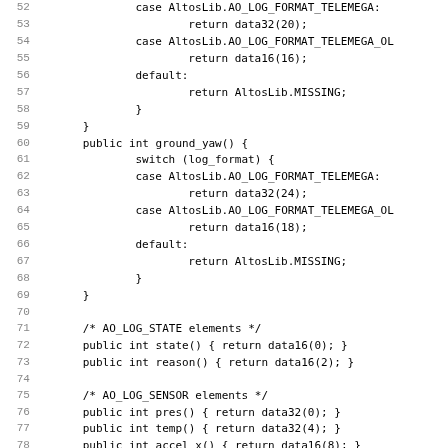[Figure (screenshot): Source code listing (Java) showing methods ground_yaw(), state(), reason(), pres(), temp(), accel_x(), accel_y(), accel_z(), gyro_x(), gyro_y(), gyro_z() with switch statements and return statements using AltosLib constants and data16/data32 calls. Lines 52-83.]